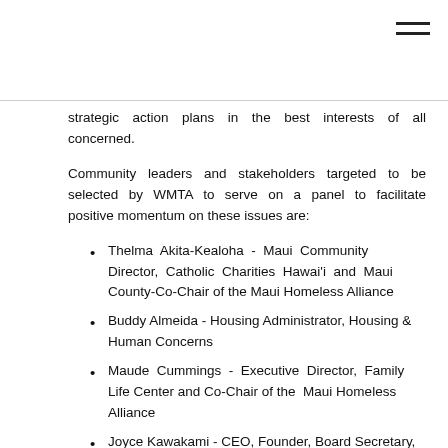strategic action plans in the best interests of all concerned.
Community leaders and stakeholders targeted to be selected by WMTA to serve on a panel to facilitate positive momentum on these issues are:
Thelma Akita-Kealoha - Maui Community Director, Catholic Charities Hawai'i and Maui County-Co-Chair of the Maui Homeless Alliance
Buddy Almeida - Housing Administrator, Housing & Human Concerns
Maude Cummings - Executive Director, Family Life Center and Co-Chair of the Maui Homeless Alliance
Joyce Kawakami - CEO, Founder, Board Secretary, Feed My Sheep